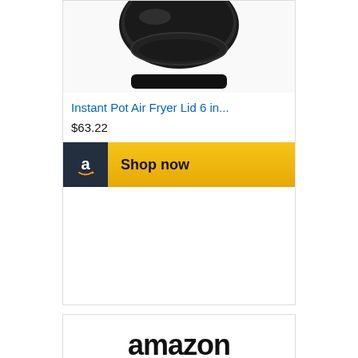[Figure (photo): Instant Pot Air Fryer Lid product image (bottom portion visible, black circular lid)]
Instant Pot Air Fryer Lid 6 in...
$63.22
[Figure (other): Shop now button with Amazon logo icon on dark background and golden gradient background]
[Figure (logo): Amazon logo with orange arrow smile]
[Figure (photo): Apple AirPods product image - white wireless earbuds]
Apple AirPods (2nd...